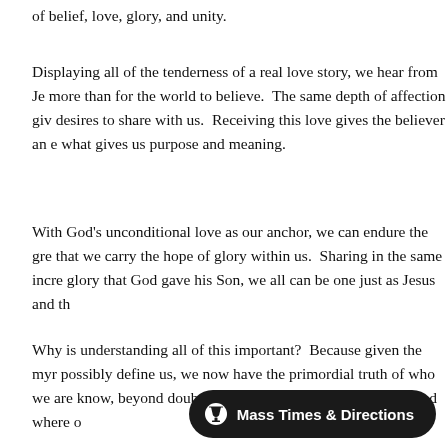of belief, love, glory, and unity.
Displaying all of the tenderness of a real love story, we hear from Je more than for the world to believe.  The same depth of affection giv desires to share with us.  Receiving this love gives the believer an e what gives us purpose and meaning.
With God's unconditional love as our anchor, we can endure the gre that we carry the hope of glory within us.  Sharing in the same incre glory that God gave his Son, we all can be one just as Jesus and th
Why is understanding all of this important?  Because given the myr possibly define us, we now have the primordial truth of who we are know, beyond doubt, where to look for true happiness and where o
Mass Times & Directions